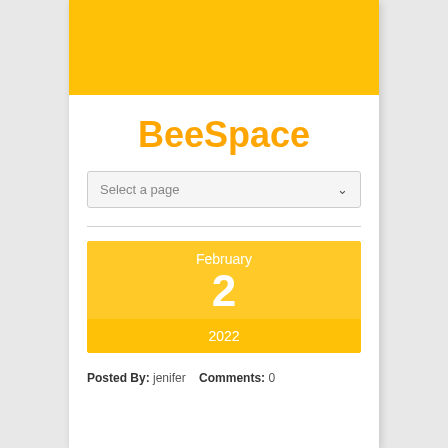[Figure (other): Yellow banner header area]
BeeSpace
Select a page
February 2 2022
Posted By: jenifer   Comments: 0